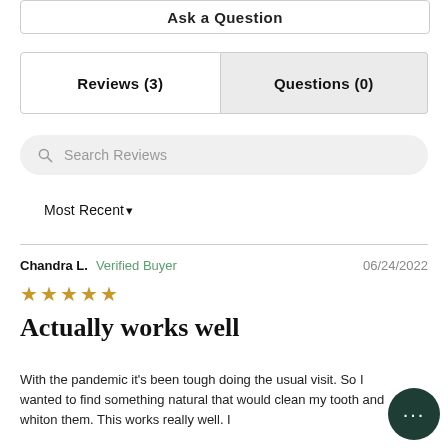Ask a Question
Reviews (3)
Questions (0)
Search Reviews
Most Recent▾
Chandra L.  Verified Buyer  06/24/2022
★★★★★
Actually works well
With the pandemic it's been tough doing the usual visit. So I wanted to find something natural that would clean my tooth and whiton them. This works really well. I